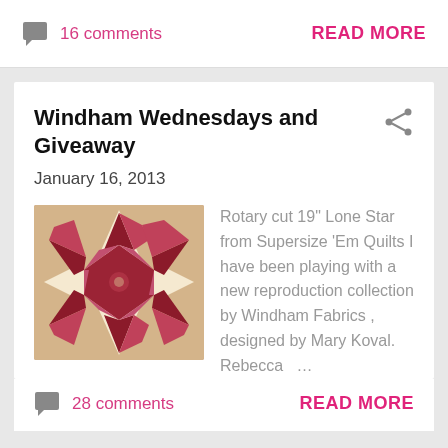16 comments
READ MORE
Windham Wednesdays and Giveaway
January 16, 2013
[Figure (photo): Quilt block with red Lone Star pattern on cream/beige background]
Rotary cut 19" Lone Star from Supersize 'Em Quilts I have been playing with a new reproduction collection by Windham Fabrics , designed by Mary Koval. Rebecca ...
28 comments
READ MORE